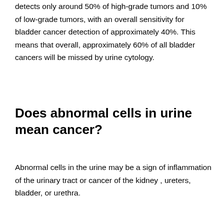detects only around 50% of high-grade tumors and 10% of low-grade tumors, with an overall sensitivity for bladder cancer detection of approximately 40%. This means that overall, approximately 60% of all bladder cancers will be missed by urine cytology.
Does abnormal cells in urine mean cancer?
Abnormal cells in the urine may be a sign of inflammation of the urinary tract or cancer of the kidney , ureters, bladder, or urethra.